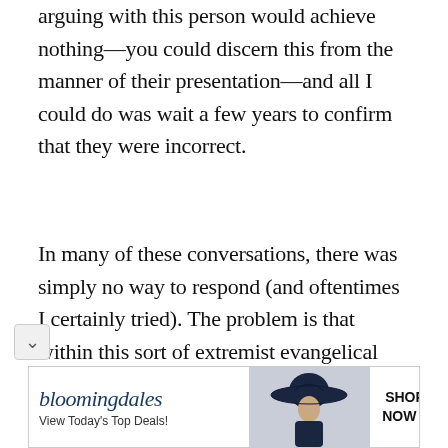arguing with this person would achieve nothing—you could discern this from the manner of their presentation—and all I could do was wait a few years to confirm that they were incorrect.
In many of these conversations, there was simply no way to respond (and oftentimes I certainly tried). The problem is that within this sort of extremist evangelical biblicism[2] they had as much authority as I did to interpret the Bible—at least they did in their mind. Any conversation on the meaning of
[Figure (other): Bloomingdale's advertisement banner: logo text 'bloomingdales', tagline 'View Today's Top Deals!', image of woman in dark wide-brim hat, button reading 'SHOP NOW >']